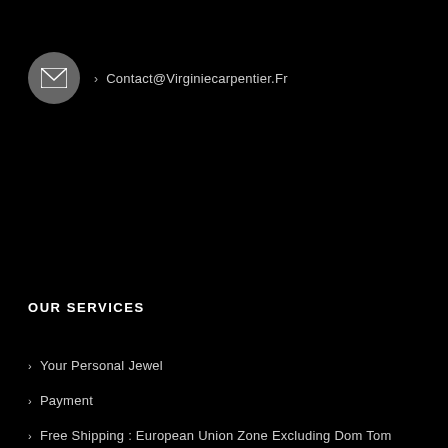> Contact@Virginiecarpentier.Fr
OUR SERVICES
> Your Personal Jewel
> Payment
> Free Shipping : European Union Zone Excluding Dom Tom